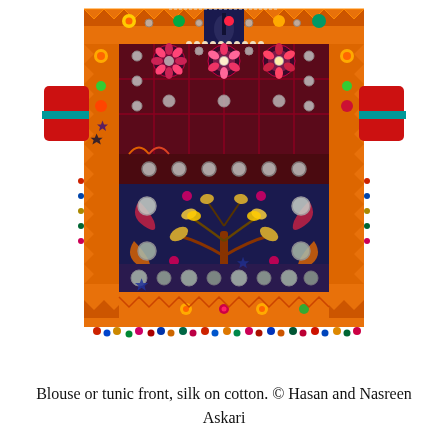[Figure (photo): A colorful embroidered blouse or tunic front featuring silk embroidery on cotton. The garment displays intricate floral and geometric patterns with mirror work (shisha), predominantly in orange, dark navy blue, red, magenta, yellow, and cream colors. The border features an orange zigzag pattern with embroidered flowers, stars, and mirrors. The central panel contains elaborate medallion designs with circular mirrors. The hem is decorated with multicolored pom-poms or beads. The garment has short red sleeves and teal trim.]
Blouse or tunic front, silk on cotton. © Hasan and Nasreen Askari